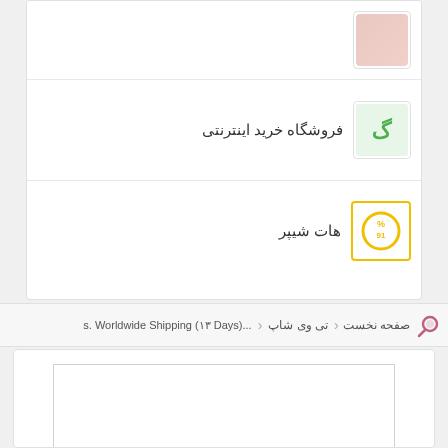[Figure (screenshot): List row with product image placeholder (top, partially visible)]
فروشگاه خرید اینترنتی
[Figure (logo): Garnet green logo]
هات شیپر
[Figure (logo): Hot Shipper yellow circle logo with percentage symbol]
صفحه نخست   <   تی وی شاپ   <   ...s. Worldwide Shipping (۱۳ Days)
[Figure (screenshot): White content area with inner bordered rectangle]